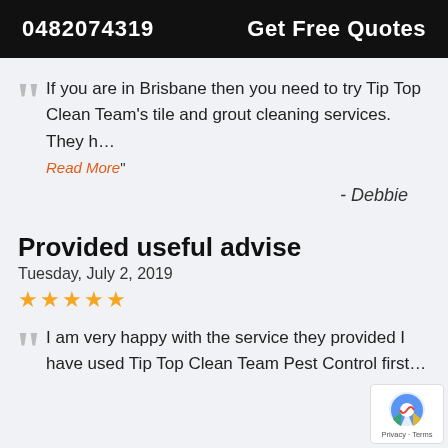0482074319   Get Free Quotes
If you are in Brisbane then you need to try Tip Top Clean Team's tile and grout cleaning services. They h… Read More"
- Debbie
Provided useful advise
Tuesday, July 2, 2019
★★★★★
I am very happy with the service they provided I have used Tip Top Clean Team Pest Control first…